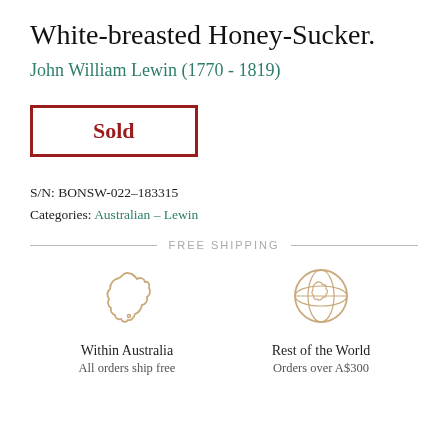White-breasted Honey-Sucker.
John William Lewin (1770 - 1819)
Sold
S/N: BONSW-022–183315
Categories: Australian – Lewin
FREE SHIPPING
[Figure (illustration): Outline illustration of Australia map in beige/tan color]
Within Australia
All orders ship free
[Figure (illustration): Outline illustration of globe/world map in beige/tan color]
Rest of the World
Orders over A$300